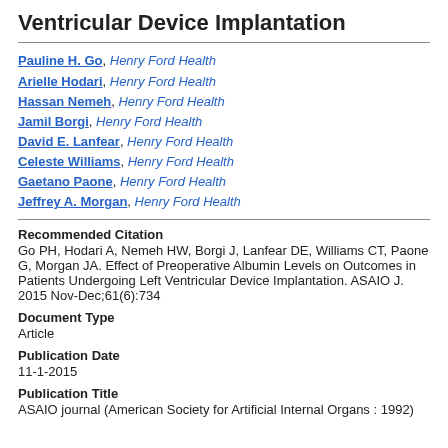Ventricular Device Implantation
Pauline H. Go, Henry Ford Health
Arielle Hodari, Henry Ford Health
Hassan Nemeh, Henry Ford Health
Jamil Borgi, Henry Ford Health
David E. Lanfear, Henry Ford Health
Celeste Williams, Henry Ford Health
Gaetano Paone, Henry Ford Health
Jeffrey A. Morgan, Henry Ford Health
Recommended Citation
Go PH, Hodari A, Nemeh HW, Borgi J, Lanfear DE, Williams CT, Paone G, Morgan JA. Effect of Preoperative Albumin Levels on Outcomes in Patients Undergoing Left Ventricular Device Implantation. ASAIO J. 2015 Nov-Dec;61(6):734
Document Type
Article
Publication Date
11-1-2015
Publication Title
ASAIO journal (American Society for Artificial Internal Organs : 1992)